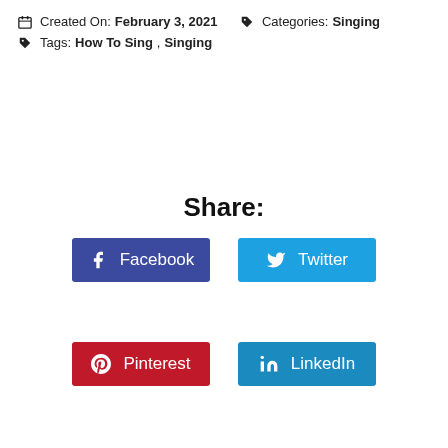Created On: February 3, 2021   Categories: Singing
Tags: How To Sing, Singing
Share:
Facebook
Twitter
Pinterest
LinkedIn